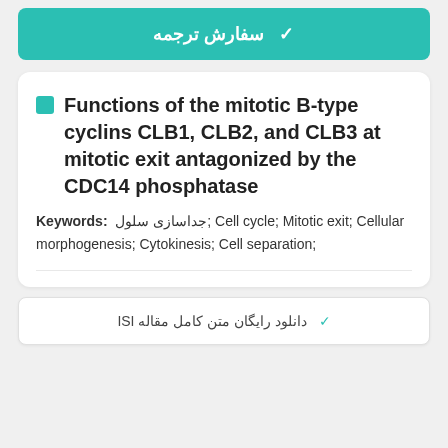✓ سفارش ترجمه
Functions of the mitotic B-type cyclins CLB1, CLB2, and CLB3 at mitotic exit antagonized by the CDC14 phosphatase
Keywords: جداسازی سلول; Cell cycle; Mitotic exit; Cellular morphogenesis; Cytokinesis; Cell separation;
✓ دانلود رایگان متن کامل مقاله ISI